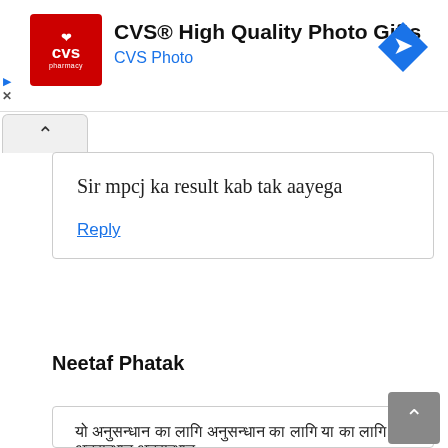[Figure (screenshot): CVS Pharmacy advertisement banner with red logo, text 'CVS® High Quality Photo Gifts' and 'CVS Photo', and a blue diamond navigation arrow icon on the right]
Sir mpcj ka result kab tak aayega
Reply
Neetaf Phatak
यो अनुसन्धान का लागि अनुसन्धान का लागि या का लागि अनुसन्धान अनुसन्धान